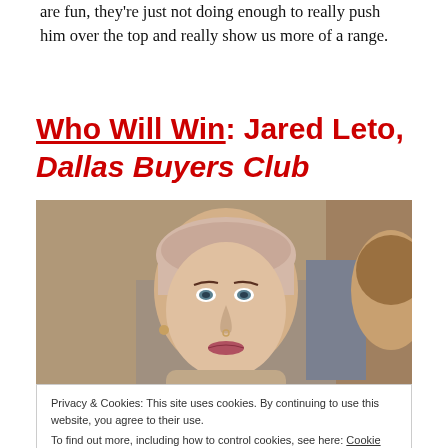are fun, they're just not doing enough to really push him over the top and really show us more of a range.
Who Will Win: Jared Leto, Dallas Buyers Club
[Figure (photo): Photo of Jared Leto in character from Dallas Buyers Club, wearing a skin-colored headscarf and makeup, looking at another person whose back of head is visible on the right.]
Privacy & Cookies: This site uses cookies. By continuing to use this website, you agree to their use.
To find out more, including how to control cookies, see here: Cookie Policy
Close and accept